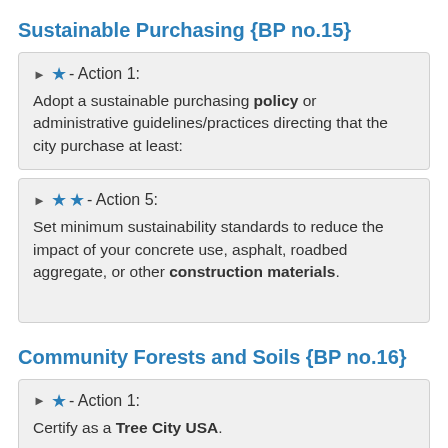Sustainable Purchasing {BP no.15}
▶ ★ - Action 1:
Adopt a sustainable purchasing policy or administrative guidelines/practices directing that the city purchase at least:
▶ ★★ - Action 5:
Set minimum sustainability standards to reduce the impact of your concrete use, asphalt, roadbed aggregate, or other construction materials.
Community Forests and Soils {BP no.16}
▶ ★ - Action 1:
Certify as a Tree City USA.